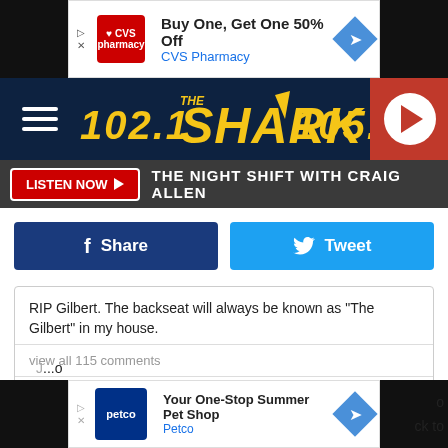[Figure (screenshot): CVS Pharmacy ad banner: Buy One, Get One 50% Off]
[Figure (logo): 102.1 The Shark 105.3 radio station header with hamburger menu and play button]
LISTEN NOW ▶  THE NIGHT SHIFT WITH CRAIG ALLEN
[Figure (screenshot): Facebook Share and Twitter Tweet social buttons]
RIP Gilbert. The backseat will always be known as "The Gilbert" in my house.
view all 115 comments
Add a comment...
The Sparknotes are as follows:
[Figure (screenshot): Petco ad banner: Your One-Stop Summer Pet Shop]
list item partially obscured by Petco ad